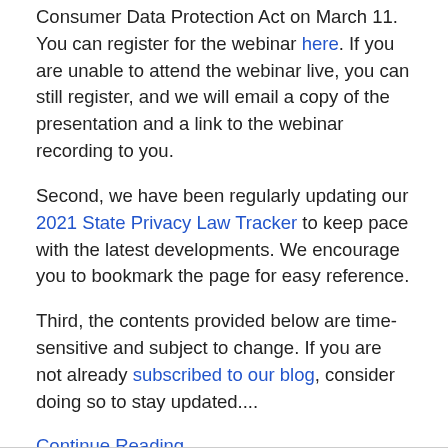Consumer Data Protection Act on March 11. You can register for the webinar here. If you are unable to attend the webinar live, you can still register, and we will email a copy of the presentation and a link to the webinar recording to you.
Second, we have been regularly updating our 2021 State Privacy Law Tracker to keep pace with the latest developments. We encourage you to bookmark the page for easy reference.
Third, the contents provided below are time-sensitive and subject to change. If you are not already subscribed to our blog, consider doing so to stay updated....
Continue Reading